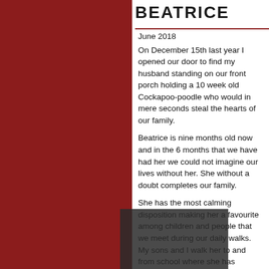BEATRICE
June 2018
On December 15th last year I opened our door to find my husband standing on our front porch holding a 10 week old Cockapoo-poodle who would in mere seconds steal the hearts of our family.
Beatrice is nine months old now and in the 6 months that we have had her we could not imagine our lives without her.  She without a doubt completes our family.
She has the most calming disposition making her a favourite among children and people that we meet during our daily walks.  My sons and I walk her to and from school where she has developed a following of kids on the playground who will shout her name down the block every morning when they see her coming...